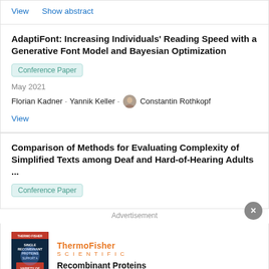View   Show abstract
AdaptiFont: Increasing Individuals' Reading Speed with a Generative Font Model and Bayesian Optimization
Conference Paper
May 2021
Florian Kadner · Yannik Keller · Constantin Rothkopf
View
Comparison of Methods for Evaluating Complexity of Simplified Texts among Deaf and Hard-of-Hearing Adults ...
Conference Paper
Advertisement
[Figure (illustration): ThermoFisher Scientific advertisement showing book cover for Recombinant Proteins with dark blue background]
Recombinant Proteins